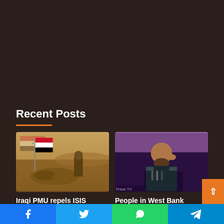Recent Posts
[Figure (photo): Military scene with Iraqi flag and soldier in desert landscape]
[Figure (photo): Man in military uniform speaking, likely an Iranian military commander]
Iraqi PMU repels ISIS
People in West Bank